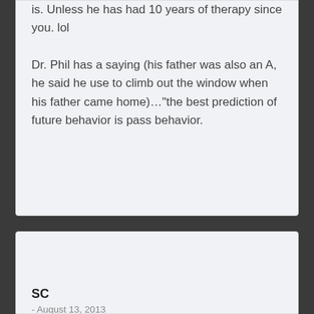is. Unless he has had 10 years of therapy since you. lol

Dr. Phil has a saying (his father was also an A, he said he use to climb out the window when his father came home)…"the best prediction of future behavior is pass behavior.
SC
- August 13, 2013
Gabby, I think they try to be different with the next one (sometimes) and it may work for a little while. But